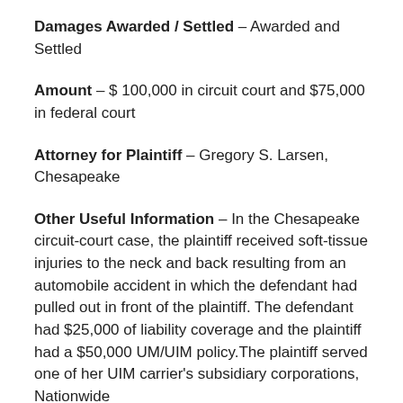Damages Awarded / Settled – Awarded and Settled
Amount – $ 100,000 in circuit court and $75,000 in federal court
Attorney for Plaintiff – Gregory S. Larsen, Chesapeake
Other Useful Information – In the Chesapeake circuit-court case, the plaintiff received soft-tissue injuries to the neck and back resulting from an automobile accident in which the defendant had pulled out in front of the plaintiff. The defendant had $25,000 of liability coverage and the plaintiff had a $50,000 UM/UIM policy.The plaintiff served one of her UIM carrier's subsidiary corporations, Nationwide